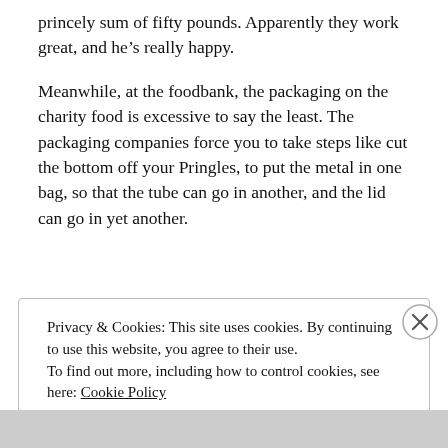princely sum of fifty pounds. Apparently they work great, and he's really happy.
Meanwhile, at the foodbank, the packaging on the charity food is excessive to say the least. The packaging companies force you to take steps like cut the bottom off your Pringles, to put the metal in one bag, so that the tube can go in another, and the lid can go in yet another.
Privacy & Cookies: This site uses cookies. By continuing to use this website, you agree to their use.
To find out more, including how to control cookies, see here: Cookie Policy

Close and accept